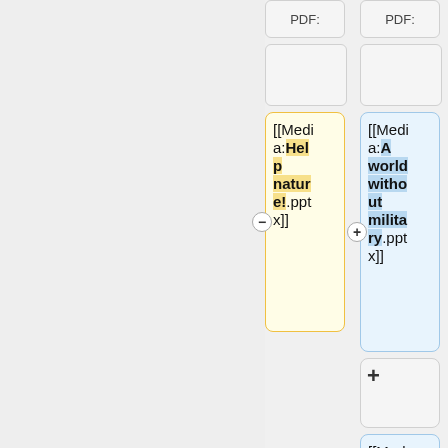PDF:
PDF:
[[Media:Help nature!.pptx]]
[[Media:A world without military.pptx]]
+
[[Media:A world.pptx]]